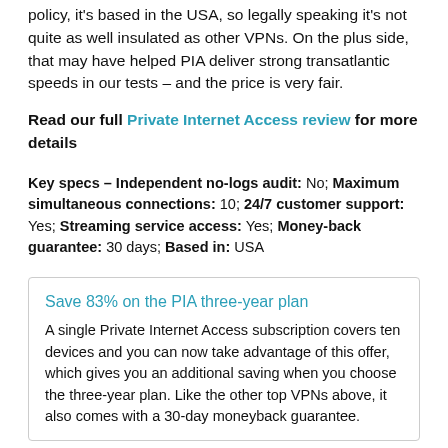policy, it's based in the USA, so legally speaking it's not quite as well insulated as other VPNs. On the plus side, that may have helped PIA deliver strong transatlantic speeds in our tests – and the price is very fair.
Read our full Private Internet Access review for more details
Key specs – Independent no-logs audit: No; Maximum simultaneous connections: 10; 24/7 customer support: Yes; Streaming service access: Yes; Money-back guarantee: 30 days; Based in: USA
Save 83% on the PIA three-year plan
A single Private Internet Access subscription covers ten devices and you can now take advantage of this offer, which gives you an additional saving when you choose the three-year plan. Like the other top VPNs above, it also comes with a 30-day moneyback guarantee.